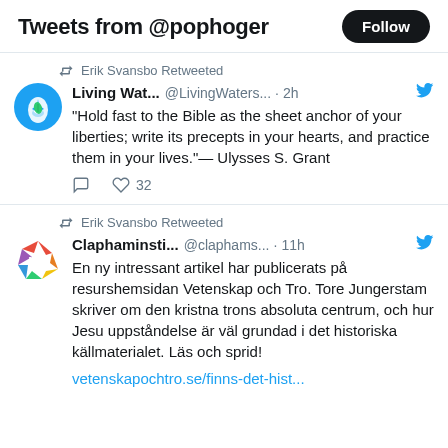Tweets from @pophoger
Erik Svansbo Retweeted
Living Wat... @LivingWaters... · 2h
“Hold fast to the Bible as the sheet anchor of your liberties; write its precepts in your hearts, and practice them in your lives.”— Ulysses S. Grant
32
Erik Svansbo Retweeted
Claphaminsti... @claphams... · 11h
En ny intressant artikel har publicerats på resurshemsidan Vetenskap och Tro. Tore Jungerstam skriver om den kristna trons absoluta centrum, och hur Jesu uppståndelse är väl grundad i det historiska källmaterialet. Läs och sprid!
vetenskapochtro.se/finns-det-hist...